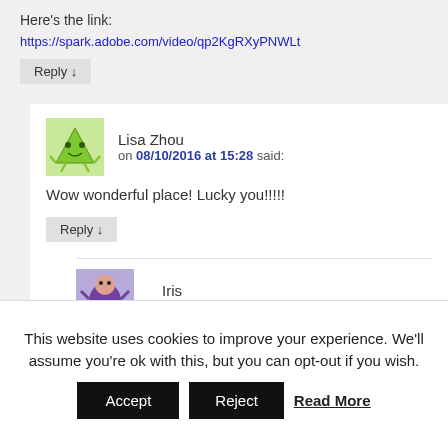Here's the link:
https://spark.adobe.com/video/qp2KgRXyPNWLt
Reply ↓
Lisa Zhou on 08/10/2016 at 15:28 said:
Wow wonderful place! Lucky you!!!!!
Reply ↓
Iris on 08/10/2016 at 16:32 said:
This website uses cookies to improve your experience. We'll assume you're ok with this, but you can opt-out if you wish. Accept Reject Read More